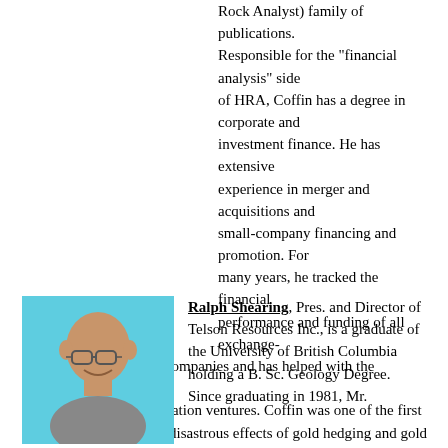Rock Analyst) family of publications. Responsible for the "financial analysis" side of HRA, Coffin has a degree in corporate and investment finance. He has extensive experience in merger and acquisitions and small-company financing and promotion. For many years, he tracked the financial performance and funding of all exchange-listed Canadian mining companies and has helped with the formation of several successful exploration ventures. Coffin was one of the first analysts to point out the disastrous effects of gold hedging and gold loan-capital financing in 1997. He also predicted the start of the current secular bull market in commodities based on the movement of the U.S. dollar in 2001 and the acceleration of growth in Asia and India. Coffin can be reached at hra@publishers-mgmt.com or the website www.hraadvisory.com.
[Figure (photo): Headshot photo of Ralph Shearing, a bald man with glasses, smiling, against a light blue background]
Ralph Shearing, Pres. and Director of Telson Resources Inc., is a graduate of the University of British Columbia holding a B. Sc. Geology Degree. Since graduating in 1981, Mr.